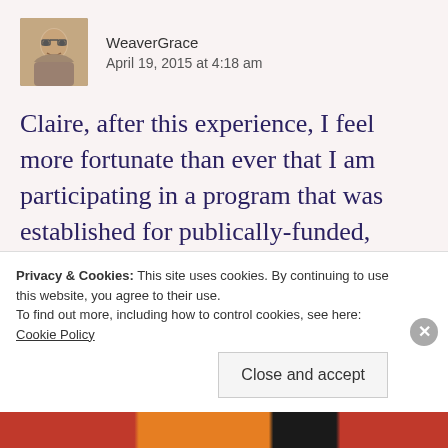[Figure (photo): Avatar photo of WeaverGrace, a woman with glasses]
WeaverGrace
April 19, 2015 at 4:18 am
Claire, after this experience, I feel more fortunate than ever that I am participating in a program that was established for publically-funded, lower-income, very-disabled people. It is doing me a world of good, and I love the opportunities to “give back”. It is promoting a model of Recovery, which is one that I am working to understand thoroughly enough to explain it here. This agency
Privacy & Cookies: This site uses cookies. By continuing to use this website, you agree to their use.
To find out more, including how to control cookies, see here: Cookie Policy
Close and accept